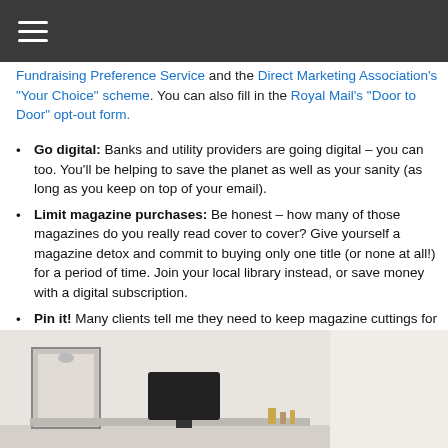☰
Fundraising Preference Service and the Direct Marketing Association's "Your Choice" scheme. You can also fill in the Royal Mail's "Door to Door" opt-out form.
Go digital: Banks and utility providers are going digital – you can too. You'll be helping to save the planet as well as your sanity (as long as you keep on top of your email).
Limit magazine purchases: Be honest – how many of those magazines do you really read cover to cover? Give yourself a magazine detox and commit to buying only one title (or none at all!) for a period of time. Join your local library instead, or save money with a digital subscription.
Pin it! Many clients tell me they need to keep magazine cuttings for inspiration. Are they really inspiring you, piled up in the corner of the sitting room?  Go digital here too and use a platform like Pinterest to save, share and plan your projects.
[Figure (photo): Interior room photo showing a desk area with a framed picture, a dark monitor/screen, and small decorative items against a light wall. Light beige/grey background.]